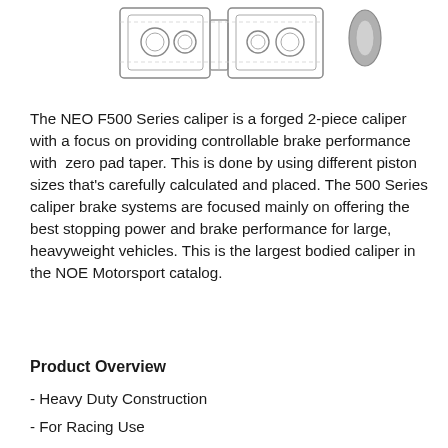[Figure (engineering-diagram): Technical engineering diagram / schematic of the NEO F500 Series brake caliper, showing a cross-section or exploded view with mechanical components visible, rendered in grayscale line art.]
The NEO F500 Series caliper is a forged 2-piece caliper with a focus on providing controllable brake performance with zero pad taper. This is done by using different piston sizes that's carefully calculated and placed. The 500 Series caliper brake systems are focused mainly on offering the best stopping power and brake performance for large, heavyweight vehicles. This is the largest bodied caliper in the NOE Motorsport catalog.
Product Overview
- Heavy Duty Construction
- For Racing Use